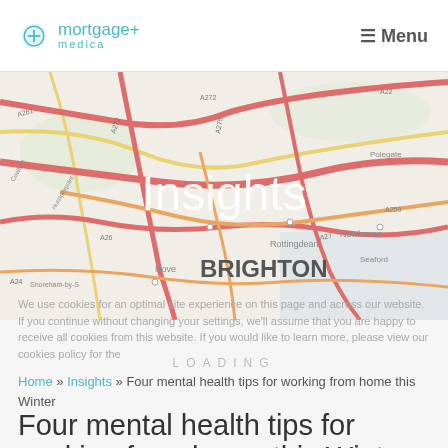mortgage medica | ☰ Menu
[Figure (map): Road map of Brighton and surrounding areas including Hove, Rottingdean, Newhaven, Seaford, Polegate, Hurstpierpoint with major roads A27, A259, A272, A281, A26 etc.]
Insights
We use cookies for an optimal site experience on this page and across our website. If you continue without changing your settings, we'll assume that you are happy to receive all cookies from this website. If you would like to learn more, please view our cookies policy for the...
LOADING
Home » Insights » Four mental health tips for working from home this Winter
Four mental health tips for working from home this Winter